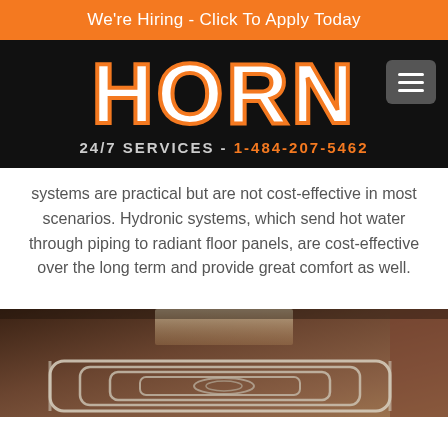We're Hiring - Click To Apply Today
[Figure (logo): HORN company logo with orange outline on black background, showing '24/7 SERVICES - 1-484-207-5462' below]
systems are practical but are not cost-effective in most scenarios. Hydronic systems, which send hot water through piping to radiant floor panels, are cost-effective over the long term and provide great comfort as well.
[Figure (photo): Photo of radiant floor heating pipes/tubing laid out in loops on a concrete floor under construction, with windows visible in the background and brick wall on the right.]